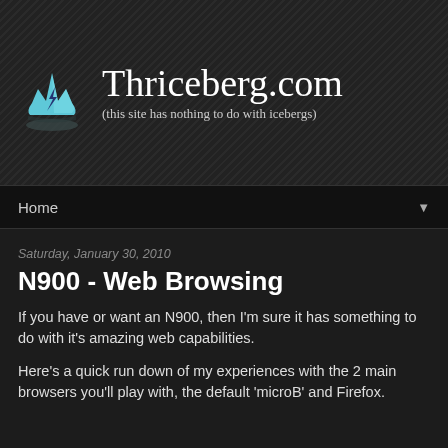[Figure (logo): Thriceberg.com website header with stylized iceberg logo (light blue iceberg shape with lightning bolt) and site name 'Thriceberg.com' with tagline '(this site has nothing to do with icebergs)']
Home ▼
Saturday, January 30, 2010
N900 - Web Browsing
If you have or want an N900, then I'm sure it has something to do with it's amazing web capabilities.
Here's a quick run down of my experiences with the 2 main browsers you'll play with, the default 'microB' and Firefox.